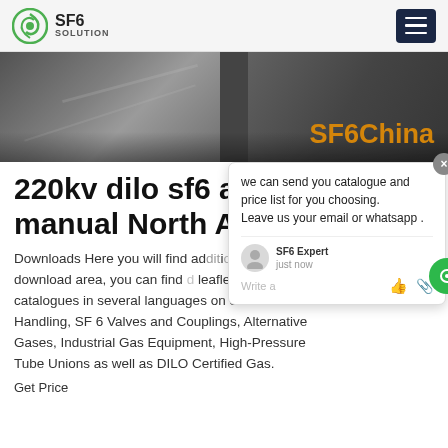SF6 SOLUTION
[Figure (photo): Dark industrial/road background image with 'SF6China' text overlay in orange on the right side]
220kv dilo sf6 analyser manual North Ame...
Downloads Here you will find additional information on In our download area, you can find leaflets and product catalogues in several languages on SF 6 Gas Handling, SF 6 Valves and Couplings, Alternative Gases, Industrial Gas Equipment, High-Pressure Tube Unions as well as DILO Certified Gas.
Get Price